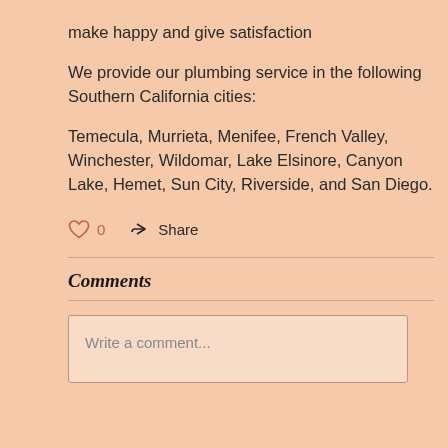make happy and give satisfaction
We provide our plumbing service in the following Southern California cities:
Temecula, Murrieta, Menifee, French Valley, Winchester, Wildomar, Lake Elsinore, Canyon Lake, Hemet, Sun City, Riverside, and San Diego.
0  Share
Comments
Write a comment...